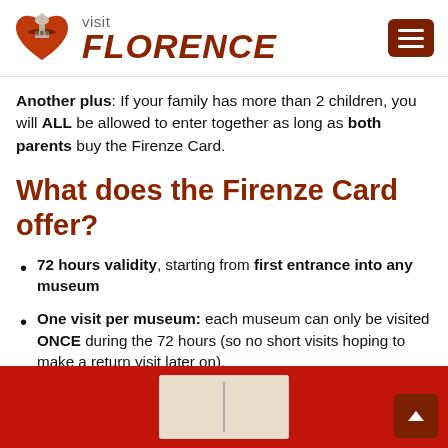visit FLORENCE
Another plus: If your family has more than 2 children, you will ALL be allowed to enter together as long as both parents buy the Firenze Card.
What does the Firenze Card offer?
72 hours validity, starting from first entrance into any museum
One visit per museum: each museum can only be visited ONCE during the 72 hours (so no short visits hoping to make a return visit later on).
[Figure (photo): Red background with an open book image in the center, and a dark red scroll-to-top button in the bottom right corner.]